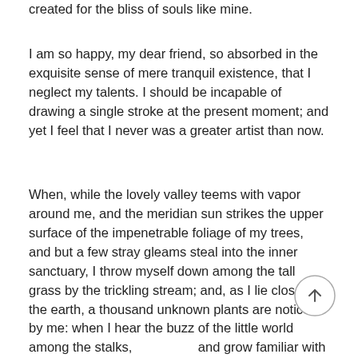created for the bliss of souls like mine.
I am so happy, my dear friend, so absorbed in the exquisite sense of mere tranquil existence, that I neglect my talents. I should be incapable of drawing a single stroke at the present moment; and yet I feel that I never was a greater artist than now.
When, while the lovely valley teems with vapor around me, and the meridian sun strikes the upper surface of the impenetrable foliage of my trees, and but a few stray gleams steal into the inner sanctuary, I throw myself down among the tall grass by the trickling stream; and, as I lie close to the earth, a thousand unknown plants are noticed by me: when I hear the buzz of the little world among the stalks, and grow familiar with the countless indescribable forms of the insects and flies,